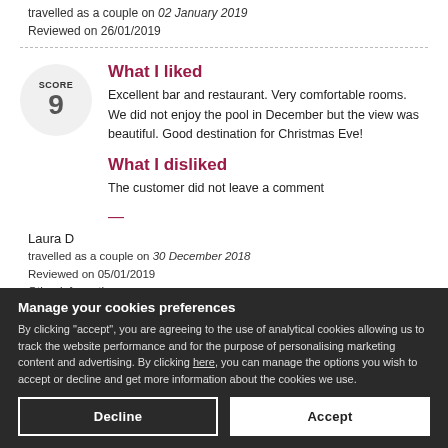travelled as a couple on 02 January 2019
Reviewed on 26/01/2019
What I liked
Excellent bar and restaurant. Very comfortable rooms. We did not enjoy the pool in December but the view was beautiful. Good destination for Christmas Eve!
What I disliked
The customer did not leave a comment
Laura D
travelled as a couple on 30 December 2018
Reviewed on 05/01/2019
Other information
Manage your cookies preferences
By clicking "accept", you are agreeing to the use of analytical cookies allowing us to track the website performance and for the purpose of personalising marketing content and advertising. By clicking here, you can manage the options you wish to accept or decline and get more information about the cookies we use.
Decline
Accept
Inscrivez-vous gratuitement